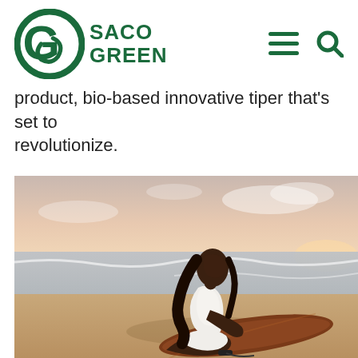[Figure (logo): Saco Green logo with circular G icon and green text]
product, bio-based innovative tiper that's set to revolutionize.
[Figure (photo): Woman in white outfit sitting on a brown surfboard on a beach at sunset, leaning back with eyes closed, waves in background]